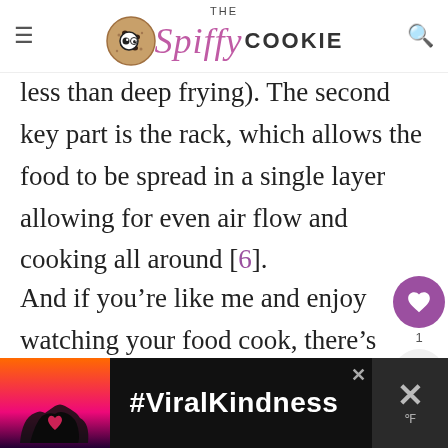THE Spiffy COOKIE
less than deep frying). The second key part is the rack, which allows the food to be spread in a single layer allowing for even air flow and cooking all around [6].
And if you're like me and enjoy watching your food cook, there's a nice window for you to gaze longingly inside. Or for a normal person to check when it's done without opening it and thus losing heat.
[Figure (screenshot): What's Next widget showing Edamame Guacamole article]
[Figure (screenshot): Ad banner with #ViralKindness and heart-hands silhouette]